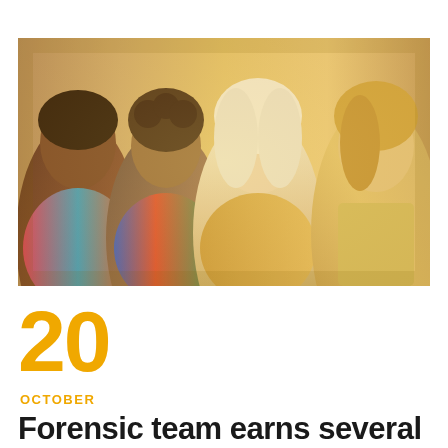[Figure (photo): Four students sitting together, looking down, as if studying or taking a test. Warm, golden-toned photo with slight vintage filter. Students include a young woman with dark skin on the left, a young man with curly hair, a young woman with platinum blonde hair in the center, and a young woman with blonde hair on the right.]
20
OCTOBER
Forensic team earns several